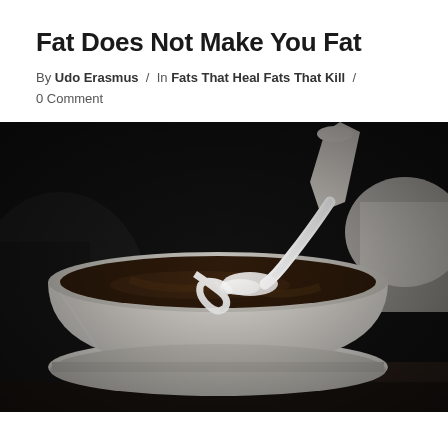Fat Does Not Make You Fat
By Udo Erasmus / In Fats That Heal Fats That Kill /
0 Comment
[Figure (photo): Close-up photograph of cream being poured into a white coffee mug filled with dark coffee, swirling against a dark background]